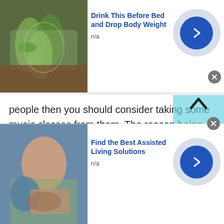[Figure (photo): Advertisement banner showing green drink/cucumber water in glasses with text 'Drink This Before Bed and Drop Body Weight']
people then you should consider taking some music classes from them. The reason being Romania is considered the home of classical music. Every Romanian is literally filled with the talent of music inside them. You can use the talkwithstranger's platform to take music classes online.
Since the world was standstill during the Covid-19 pandemic, people could not go to parties. The organizers would then simply host digital parties.
[Figure (photo): Advertisement banner showing elderly person with caregiver with text 'Find the Best Assisted Living Solutions']